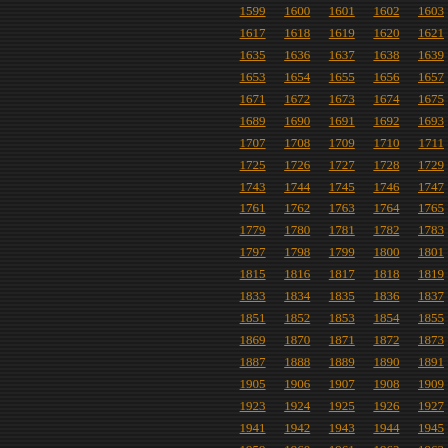| 1599 | 1600 | 1601 | 1602 | 1603 |
| 1617 | 1618 | 1619 | 1620 | 1621 |
| 1635 | 1636 | 1637 | 1638 | 1639 |
| 1653 | 1654 | 1655 | 1656 | 1657 |
| 1671 | 1672 | 1673 | 1674 | 1675 |
| 1689 | 1690 | 1691 | 1692 | 1693 |
| 1707 | 1708 | 1709 | 1710 | 1711 |
| 1725 | 1726 | 1727 | 1728 | 1729 |
| 1743 | 1744 | 1745 | 1746 | 1747 |
| 1761 | 1762 | 1763 | 1764 | 1765 |
| 1779 | 1780 | 1781 | 1782 | 1783 |
| 1797 | 1798 | 1799 | 1800 | 1801 |
| 1815 | 1816 | 1817 | 1818 | 1819 |
| 1833 | 1834 | 1835 | 1836 | 1837 |
| 1851 | 1852 | 1853 | 1854 | 1855 |
| 1869 | 1870 | 1871 | 1872 | 1873 |
| 1887 | 1888 | 1889 | 1890 | 1891 |
| 1905 | 1906 | 1907 | 1908 | 1909 |
| 1923 | 1924 | 1925 | 1926 | 1927 |
| 1941 | 1942 | 1943 | 1944 | 1945 |
| 1959 | 1960 | 1961 | 1962 | 1963 |
| 1977 | 1978 | 1979 | 1980 | 1981 |
| 1995 | 1996 | 1997 | 1998 | 1999 |
| 2013 | 2014 | 2015 | 2016 | 2017 |
| 2031 | 2032 | 2033 | 2034 | 2035 |